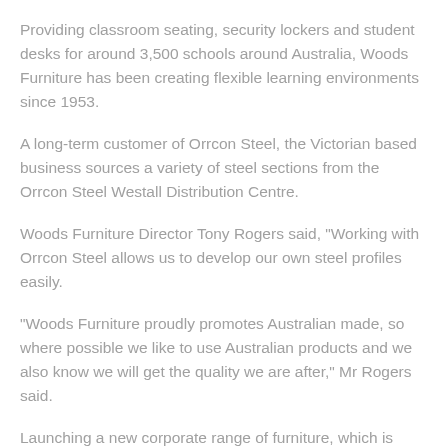Providing classroom seating, security lockers and student desks for around 3,500 schools around Australia, Woods Furniture has been creating flexible learning environments since 1953.
A long-term customer of Orrcon Steel, the Victorian based business sources a variety of steel sections from the Orrcon Steel Westall Distribution Centre.
Woods Furniture Director Tony Rogers said, "Working with Orrcon Steel allows us to develop our own steel profiles easily.
"Woods Furniture proudly promotes Australian made, so where possible we like to use Australian products and we also know we will get the quality we are after," Mr Rogers said.
Launching a new corporate range of furniture, which is designed for the 21st century, Woods Furniture are